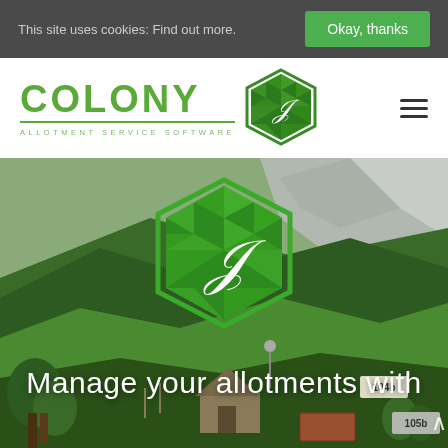This site uses cookies: Find out more.
Okay, thanks
[Figure (logo): Colony Allotment Service Software logo with green hexagon icon containing a leaf]
[Figure (illustration): Low-poly illustrated landscape background with green hills, mountains, trees and allotment plots labeled 104b and 105b]
[Figure (logo): Large green hexagonal Colony logo with leaf icon, centered in hero section]
Manage your allotments with